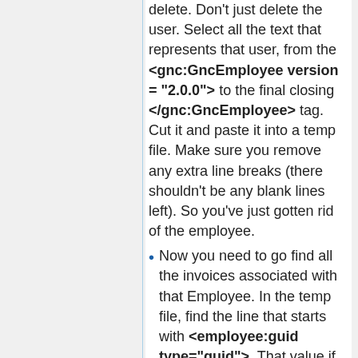delete. Don't just delete the user. Select all the text that represents that user, from the <gnc:GncEmployee version = "2.0.0"> to the final closing </gnc:GncEmployee> tag. Cut it and paste it into a temp file. Make sure you remove any extra line breaks (there shouldn't be any blank lines left). So you've just gotten rid of the employee.
Now you need to go find all the invoices associated with that Employee. In the temp file, find the line that starts with <employee:guid type="guid">. That value if the unique ID number that gnucash uses to identify that employee in the xml file. So now copy that value,